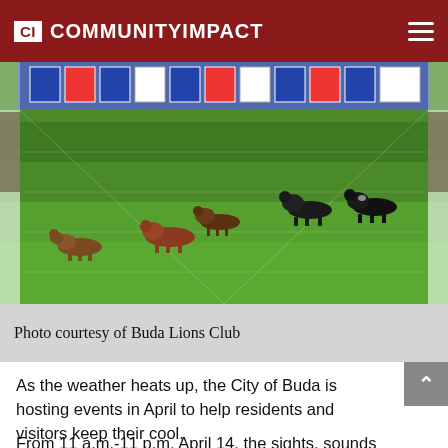CI COMMUNITYIMPACT
[Figure (photo): Dachshund dog race on a green grass track enclosed by white fences, with spectators on both sides and banners visible in the background. Multiple small dogs running toward the camera.]
Photo courtesy of Buda Lions Club
As the weather heats up, the City of Buda is hosting events in April to help residents and visitors keep their cool.
From 11 a.m.-11 p.m. April 14, the sights, sounds and smells of Louisiana will permeate Buda City Park for the 18th Annual Louisiana Swamp Thing and Crawfish Festival.